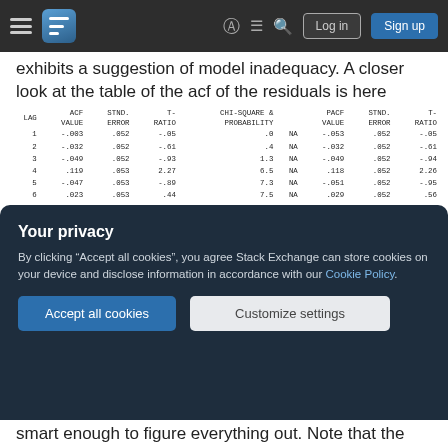Stack Exchange navigation bar with hamburger menu, logo, help icon, chat icon, search icon, Log in button, Sign up button
exhibits a suggestion of model inadequacy. A closer look at the table of the acf of the residuals is here
| LAG | ACF VALUE | STND. ERROR | T-RATIO | CHI-SQUARE & PROBABILITY |  | PACF VALUE | STND. ERROR | T-RATIO |
| --- | --- | --- | --- | --- | --- | --- | --- | --- |
| 1 | -.003 | .052 | -.05 | .0 | NA | -.053 | .052 | -.05 |
| 2 | -.032 | .052 | -.61 | .4 | NA | -.032 | .052 | -.61 |
| 3 | -.049 | .052 | -.93 | 1.3 | NA | -.049 | .052 | -.94 |
| 4 | .119 | .053 | 2.27 | 6.5 | NA | .118 | .052 | 2.26 |
| 5 | -.047 | .053 | -.89 | 7.3 | NA | -.051 | .052 | -.95 |
| 6 | .023 | .053 | .44 | 7.5 | NA | .029 | .052 | .56 |
| 7 | .115 | .053 | 2.15 | 12.5 | NA | .126 | .052 | 2.40 |
| 8 | .017 | .054 | .32 | 12.6 | NA | -.002 | .052 | -.03 |
| 9 | -.003 | .054 | -.06 | 12.6 | NA | .019 | .052 | .36 |
| 10 | -.026 | .054 | -.48 | 12.8 | NA | -.021 | .052 | -.41 |
| 11 | -.006 | .054 | -.12 | 12.9 | NA | -.033 | .052 | -.63 |
| 12 | -.053 | .054 | -.95 | 13.9 | NA | -.047 | .052 | -.89 |
| 13 | -.076 | .054 | -1.40 | 16.1 | NA | -.091 | .052 | -1.73 |
| 14 | .156 | .055 | 2.85 | 25.4 | NA | .149 | .052 | 2.86 |
suggesting structure at lags 7 and 14. Putting the
Your privacy
By clicking "Accept all cookies", you agree Stack Exchange can store cookies on your device and disclose information in accordance with our Cookie Policy.
smart enough to figure everything out. Note that the